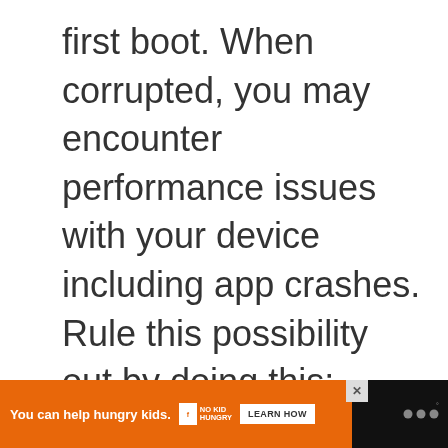first boot. When corrupted, you may encounter performance issues with your device including app crashes. Rule this possibility out by doing this:
[Figure (other): Advertisement placeholder box with 'ADVERTISEMENT' label in grey text on light grey background]
[Figure (other): Bottom banner ad: black bar containing orange advertisement section with text 'You can help hungry kids.' with No Kid Hungry logo and 'LEARN HOW' button, close X button, and website logo on right]